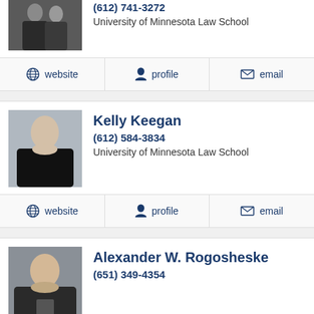(612) 741-3272
University of Minnesota Law School
website | profile | email
Kelly Keegan
(612) 584-3834
University of Minnesota Law School
website | profile | email
Alexander W. Rogosheske
(651) 349-4354
website | profile | email